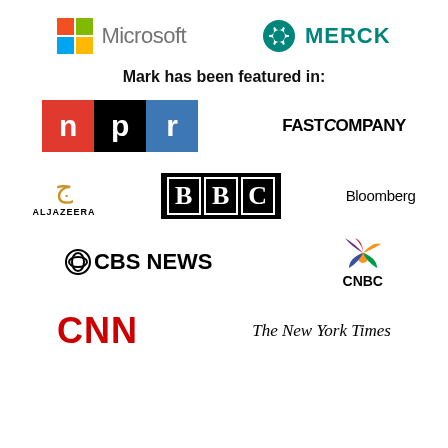[Figure (logo): Microsoft logo with four-color grid and gray Microsoft text]
[Figure (logo): Merck logo with teal hexagon icon and MERCK text in teal]
Mark has been featured in:
[Figure (logo): NPR logo with colored blocks: red N, black P, blue R]
[Figure (logo): Fast Company logo in bold black uppercase]
[Figure (logo): Al Jazeera logo with stylized golden symbol and ALJAZEERA text]
[Figure (logo): BBC logo white letters in black bordered squares on black background]
[Figure (logo): Bloomberg logo in black text]
[Figure (logo): CBS News logo with CBS eye symbol and CBS NEWS text]
[Figure (logo): CNBC logo with peacock/feather icon and CNBC text]
[Figure (logo): CNN logo in bold red]
[Figure (logo): The New York Times logo in italic serif font]